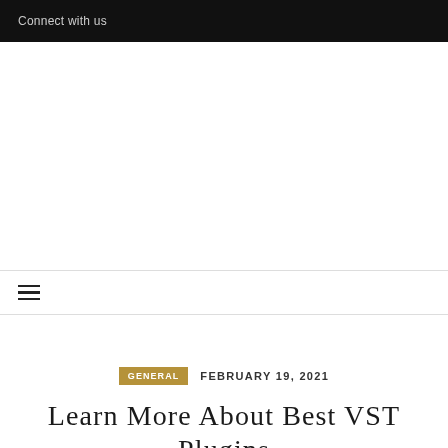Connect with us
≡
GENERAL  FEBRUARY 19, 2021
Learn More About Best VST Plugins